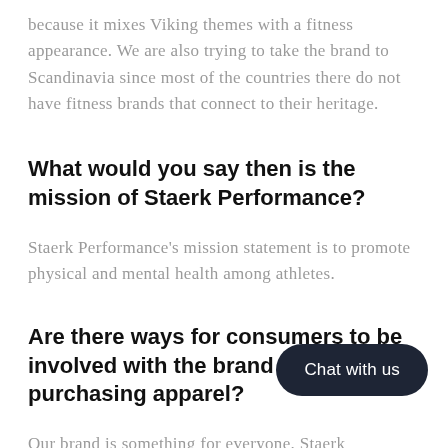because it mixes Viking themes with a fitness appearance. We are also trying to take the brand to Scandinavia since most of the countries there do not have fitness brands that connect to their heritage.
What would you say then is the mission of Staerk Performance?
Staerk Performance's mission statement is to promote physical and mental health among athletes.
Are there ways for consumers to be involved with the brand along with purchasing apparel?
Our brand is something for everyone. Staerk